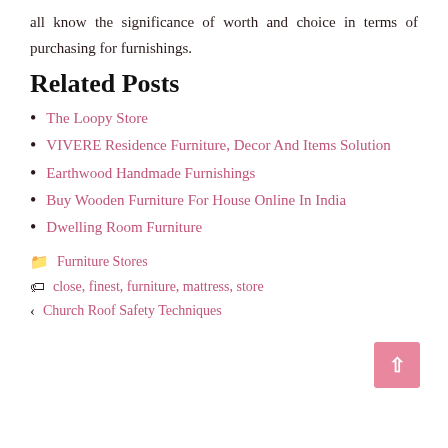all know the significance of worth and choice in terms of purchasing for furnishings.
Related Posts
The Loopy Store
VIVERE Residence Furniture, Decor And Items Solution
Earthwood Handmade Furnishings
Buy Wooden Furniture For House Online In India
Dwelling Room Furniture
Furniture Stores
close, finest, furniture, mattress, store
‹ Church Roof Safety Techniques